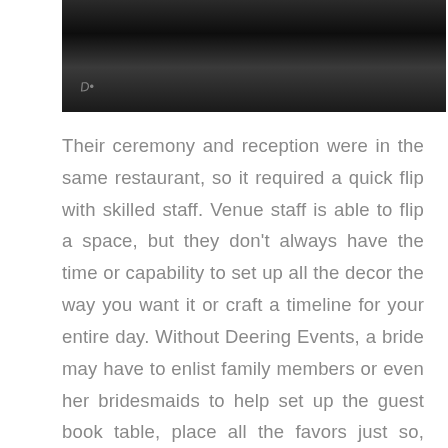[Figure (photo): Black and white photograph cropped at the top of the page, showing what appears to be an interior or outdoor architectural setting with dark tones.]
Their ceremony and reception were in the same restaurant, so it required a quick flip with skilled staff. Venue staff is able to flip a space, but they don't always have the time or capability to set up all the decor the way you want it or craft a timeline for your entire day. Without Deering Events, a bride may have to enlist family members or even her bridesmaids to help set up the guest book table, place all the favors just so, make sure the escort cards